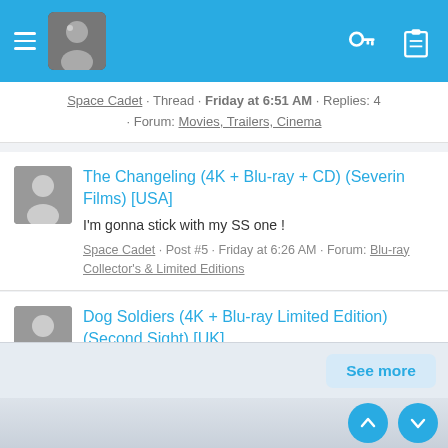Space Cadet · Thread · Friday at 6:51 AM · Replies: 4 · Forum: Movies, Trailers, Cinema
The Changeling (4K + Blu-ray + CD) (Severin Films) [USA]
I'm gonna stick with my SS one !
Space Cadet · Post #5 · Friday at 6:26 AM · Forum: Blu-ray Collector's & Limited Editions
Dog Soldiers (4K + Blu-ray Limited Edition) (Second Sight) [UK]
And now, pls, tell us how is the PQ !!!!
Space Cadet · Post #170 · Friday at 6:25 AM · Forum: Blu-ray Collector's & Limited Editions
See more